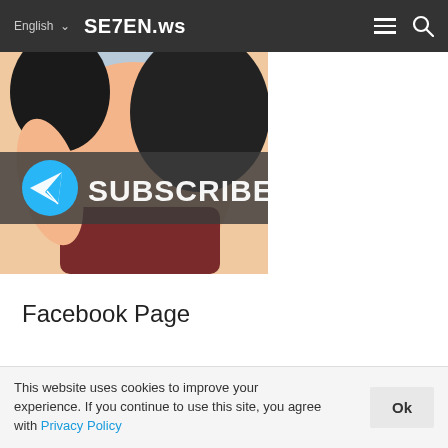English ∨   SE7EN.ws
[Figure (illustration): Anime-style illustration of a girl in a bikini, with a semi-transparent dark overlay banner showing a Telegram logo (blue circle with paper plane icon) and the word SUBSCRIBE in large white bold text.]
Facebook Page
This website uses cookies to improve your experience. If you continue to use this site, you agree with Privacy Policy
Ok